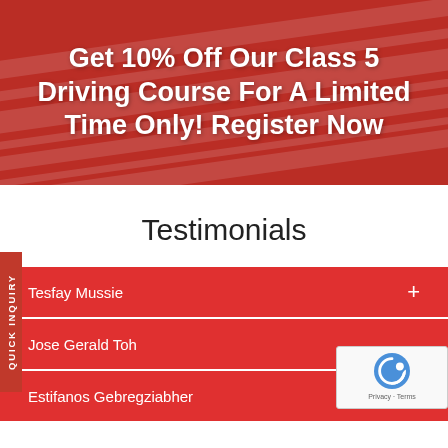[Figure (illustration): Red banner background with diagonal road/racing track imagery overlaid with semi-transparent red tint]
Get 10% Off Our Class 5 Driving Course For A Limited Time Only! Register Now
Testimonials
Tesfay Mussie
Jose Gerald Toh
Estifanos Gebregziabher